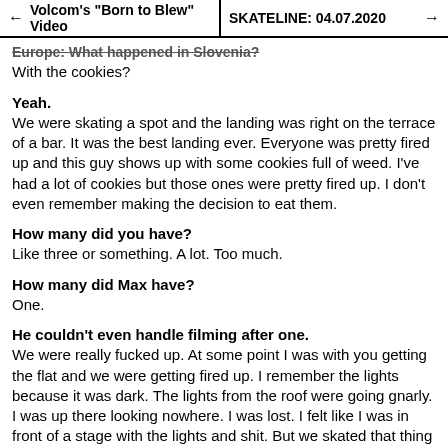← Volcom's "Born to Blew" Video | SKATELINE: 04.07.2020 →
Europe: What happened in Slovenia?
With the cookies?
Yeah.
We were skating a spot and the landing was right on the terrace of a bar. It was the best landing ever. Everyone was pretty fired up and this guy shows up with some cookies full of weed. I've had a lot of cookies but those ones were pretty fired up. I don't even remember making the decision to eat them.
How many did you have?
Like three or something. A lot. Too much.
How many did Max have?
One.
He couldn't even handle filming after one.
We were really fucked up. At some point I was with you getting the flat and we were getting fired up. I remember the lights because it was dark. The lights from the roof were going gnarly. I was up there looking nowhere. I was lost. I felt like I was in front of a stage with the lights and shit. But we skated that thing and I did my trick. I don't even know how. Nobody could even say anything. It was horrible. We were cooked as fuck.